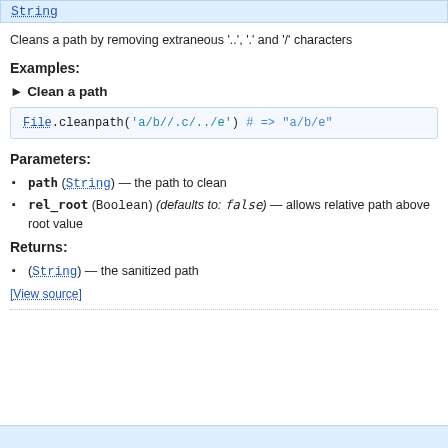String
Cleans a path by removing extraneous '..', '.' and '/' characters
Examples:
▶ Clean a path
File.cleanpath('a/b//.c/../e') # => "a/b/e"
Parameters:
path (String) — the path to clean
rel_root (Boolean) (defaults to: false) — allows relative path above root value
Returns:
(String) — the sanitized path
[View source]
(bottom bar content)